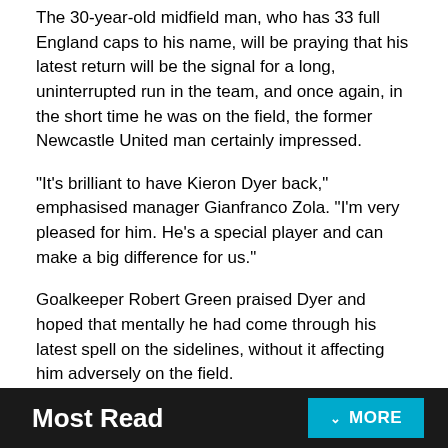The 30-year-old midfield man, who has 33 full England caps to his name, will be praying that his latest return will be the signal for a long, uninterrupted run in the team, and once again, in the short time he was on the field, the former Newcastle United man certainly impressed.
"It's brilliant to have Kieron Dyer back," emphasised manager Gianfranco Zola. "I'm very pleased for him. He's a special player and can make a big difference for us."
Goalkeeper Robert Green praised Dyer and hoped that mentally he had come through his latest spell on the sidelines, without it affecting him adversely on the field.
Most Read